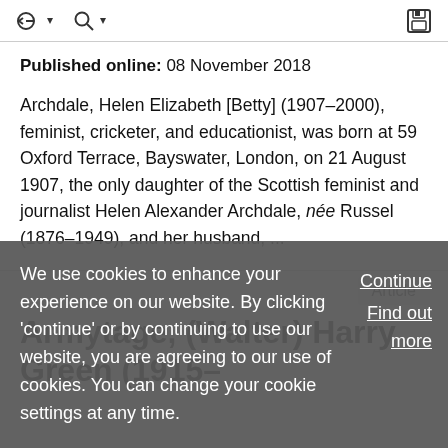toolbar with navigation icons and save icon
Published online: 08 November 2018
Archdale, Helen Elizabeth [Betty] (1907–2000), feminist, cricketer, and educationist, was born at 59 Oxford Terrace, Bayswater, London, on 21 August 1907, the only daughter of the Scottish feminist and journalist Helen Alexander Archdale, née Russel (1876–1949), and her husband, ...
Article
Armytage, (Walter) Harry Green (1915–
We use cookies to enhance your experience on our website. By clicking 'continue' or by continuing to use our website, you are agreeing to our use of cookies. You can change your cookie settings at any time.